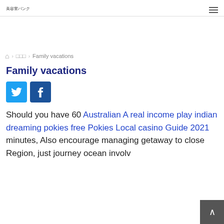美容室バンク
家 › □□□ › Family vacations
Family vacations
[Figure (other): Twitter and Facebook social share buttons]
Should you have 60 Australian A real income play indian dreaming pokies free Pokies Local casino Guide 2021 minutes, Also encourage managing getaway to close Region, just journey ocean involv